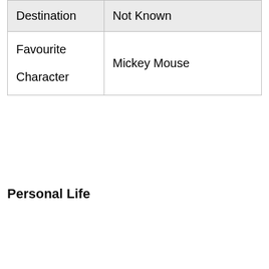| Destination | Not Known |
| Favourite
Character | Mickey Mouse |
Personal Life